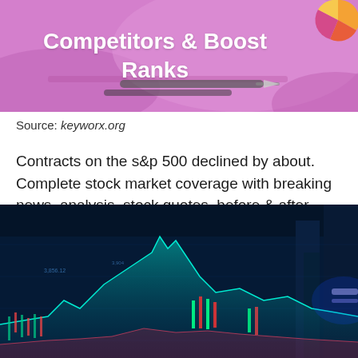[Figure (photo): Pink/purple banner image with text 'Competitors & Boost Ranks' and decorative pie chart, pen on desk background]
Source: keyworx.org
Contracts on the s&p 500 declined by about. Complete stock market coverage with breaking news, analysis, stock quotes, before & after hours market data, research and earnings
[Figure (photo): Dark blue financial stock market chart with candlestick data, glowing teal and green lines, city buildings in background]